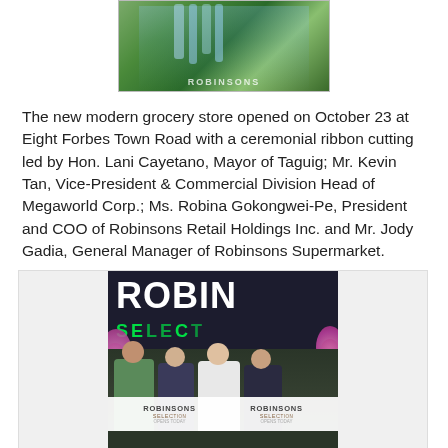[Figure (photo): Top portion of a photo showing green plants/flowers and a Robinsons sign at the store entrance]
The new modern grocery store opened on October 23 at Eight Forbes Town Road with a ceremonial ribbon cutting led by Hon. Lani Cayetano, Mayor of Taguig; Mr. Kevin Tan, Vice-President & Commercial Division Head of Megaworld Corp.; Ms. Robina Gokongwei-Pe, President and COO of Robinsons Retail Holdings Inc. and Mr. Jody Gadia, General Manager of Robinsons Supermarket.
[Figure (photo): Photo of ribbon cutting ceremony in front of Robinsons Select store sign, with four people holding a white ribbon with Robinsons branding, flowers visible on sides]